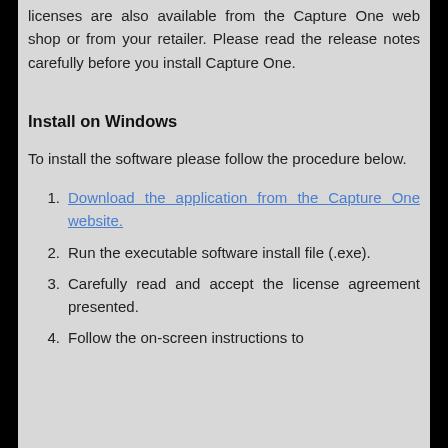licenses are also available from the Capture One web shop or from your retailer. Please read the release notes carefully before you install Capture One.
Install on Windows
To install the software please follow the procedure below.
Download the application from the Capture One website.
Run the executable software install file (.exe).
Carefully read and accept the license agreement presented.
Follow the on-screen instructions to complete the installation. Capture One...